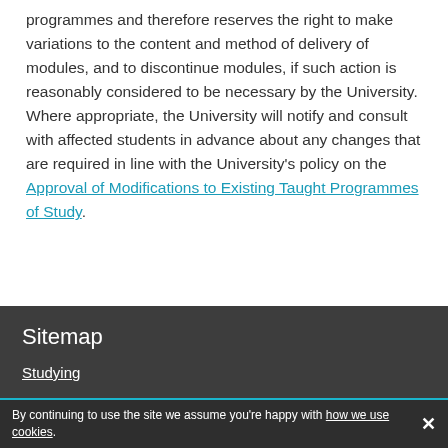programmes and therefore reserves the right to make variations to the content and method of delivery of modules, and to discontinue modules, if such action is reasonably considered to be necessary by the University. Where appropriate, the University will notify and consult with affected students in advance about any changes that are required in line with the University's policy on the Approval of Modifications to Existing Taught Programmes of Study.
Sitemap
Studying
By continuing to use the site we assume you're happy with how we use cookies.